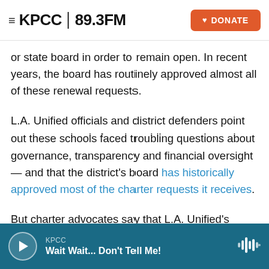≡ KPCC 89.3FM  [DONATE]
or state board in order to remain open. In recent years, the board has routinely approved almost all of these renewal requests.
L.A. Unified officials and district defenders point out these schools faced troubling questions about governance, transparency and financial oversight — and that the district's board has historically approved most of the charter requests it receives.
But charter advocates say that L.A. Unified's denials last month illustrate, as Marquez put it, "a clear politicization at the local level among school districts in the...
KPCC | Wait Wait... Don't Tell Me!